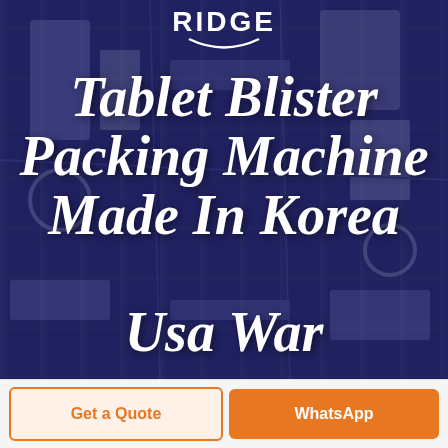[Figure (photo): Dark blue-tinted industrial machinery background with packaging equipment visible]
RIDGE
Tablet Blister Packing Machine Made In Korea Usa War
Home - Products
Get a Quote
WhatsApp